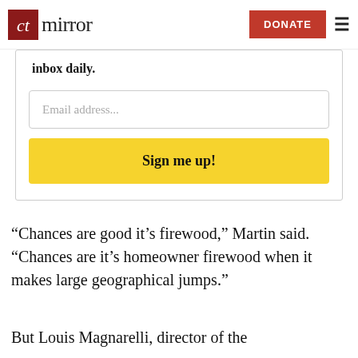the CT mirror — DONATE ☰
inbox daily.
Email address...
Sign me up!
“Chances are good it’s firewood,” Martin said. “Chances are it’s homeowner firewood when it makes large geographical jumps.”
But Louis Magnarelli, director of the